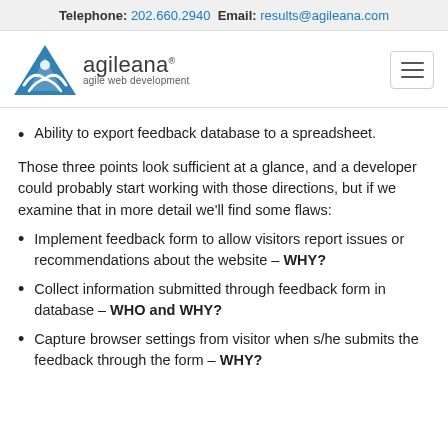Telephone: 202.660.2940  Email: results@agileana.com
[Figure (logo): Agileana logo with blue triangle/mountain icon and text 'agileana agile web development']
Ability to export feedback database to a spreadsheet.
Those three points look sufficient at a glance, and a developer could probably start working with those directions, but if we examine that in more detail we'll find some flaws:
Implement feedback form to allow visitors report issues or recommendations about the website – WHY?
Collect information submitted through feedback form in database – WHO and WHY?
Capture browser settings from visitor when s/he submits the feedback through the form – WHY?